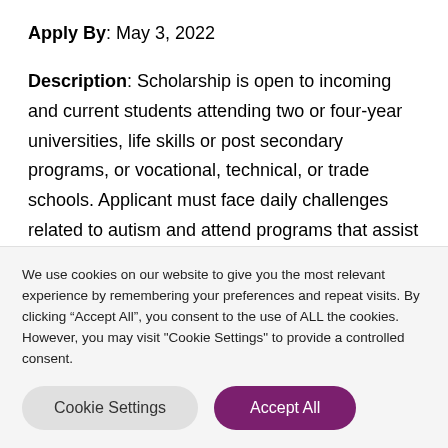Apply By: May 3, 2022
Description: Scholarship is open to incoming and current students attending two or four-year universities, life skills or post secondary programs, or vocational, technical, or trade schools. Applicant must face daily challenges related to autism and attend programs that assist in skill-building, job-readiness,
We use cookies on our website to give you the most relevant experience by remembering your preferences and repeat visits. By clicking “Accept All”, you consent to the use of ALL the cookies. However, you may visit "Cookie Settings" to provide a controlled consent.